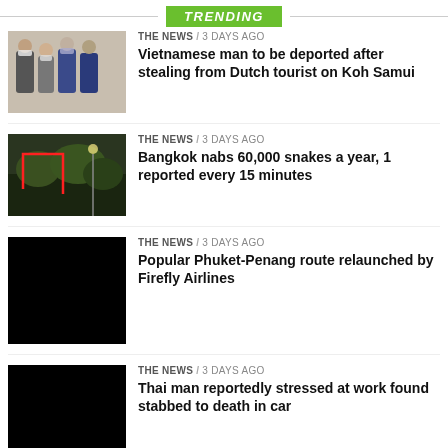TRENDING
[Figure (photo): Group of people standing, some wearing masks]
THE NEWS / 3 days ago
Vietnamese man to be deported after stealing from Dutch tourist on Koh Samui
[Figure (photo): Nighttime outdoor scene with red outline highlighting an area]
THE NEWS / 3 days ago
Bangkok nabs 60,000 snakes a year, 1 reported every 15 minutes
[Figure (photo): Black/dark image]
THE NEWS / 3 days ago
Popular Phuket-Penang route relaunched by Firefly Airlines
[Figure (photo): Black/dark image]
THE NEWS / 3 days ago
Thai man reportedly stressed at work found stabbed to death in car
[Figure (photo): Black/dark image (partially visible)]
THE NEWS / 3 days ago
Fake flight tickets; woman scammed 100+